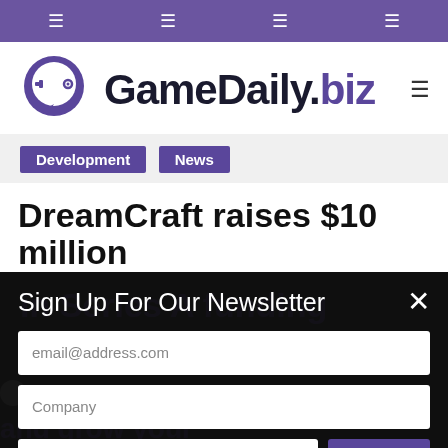☰ ☰ ☰ ☰
[Figure (logo): GameDaily.biz logo with purple controller icon and bold black/purple text]
Development  News
DreamCraft raises $10 million in Series A funding round
Sign Up For Our Newsletter
email@address.com
Company
Job Title
Submit
Josh Broadwell, November 19, 2021 4:07 PM
and grow your